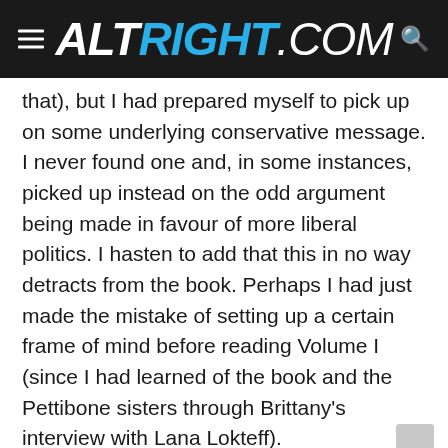ALTRIGHT.COM
that), but I had prepared myself to pick up on some underlying conservative message. I never found one and, in some instances, picked up instead on the odd argument being made in favour of more liberal politics. I hasten to add that this in no way detracts from the book. Perhaps I had just made the mistake of setting up a certain frame of mind before reading Volume I (since I had learned of the book and the Pettibone sisters through Brittany's interview with Lana Lokteff).
Without revealing any spoilers, the book